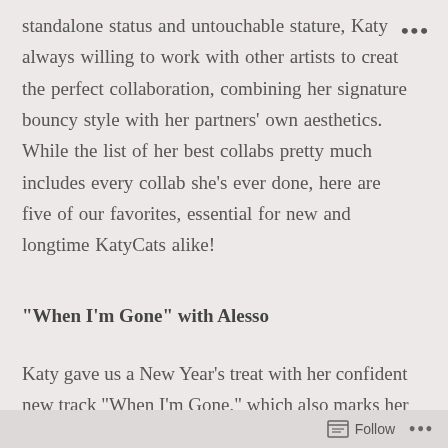standalone status and untouchable stature, Katy always willing to work with other artists to create the perfect collaboration, combining her signature bouncy style with her partners' own aesthetics. While the list of her best collabs pretty much includes every collab she's ever done, here are five of our favorites, essential for new and longtime KatyCats alike!
“When I’m Gone” with Alesso
Katy gave us a New Year’s treat with her confident new track “When I’m Gone,” which also marks her first time working with Alesso. And after listening
Follow